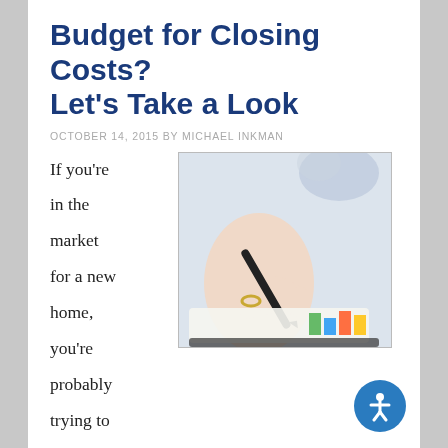Budget for Closing Costs? Let's Take a Look
OCTOBER 14, 2015 BY MICHAEL INKMAN
If you're in the market for a new home, you're probably trying to budget for all of the expenses that come with a home purchase. After all, the asking price isn't necessarily the entire amount that you'll pay – there are other expenses that will factor in to the final price. One such expense is your closing costs
[Figure (photo): A person's hand holding a pen writing on paper, with colorful charts visible in the lower right area of the document on a desk.]